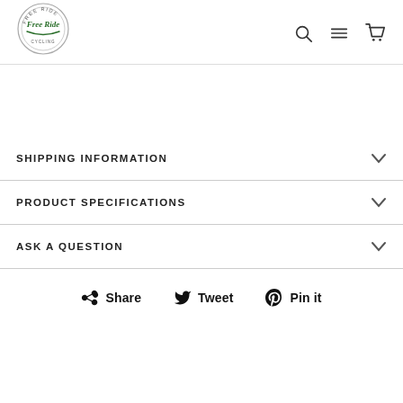Free Ride [logo] | Search | Menu | Cart
SHIPPING INFORMATION
PRODUCT SPECIFICATIONS
ASK A QUESTION
Share   Tweet   Pin it